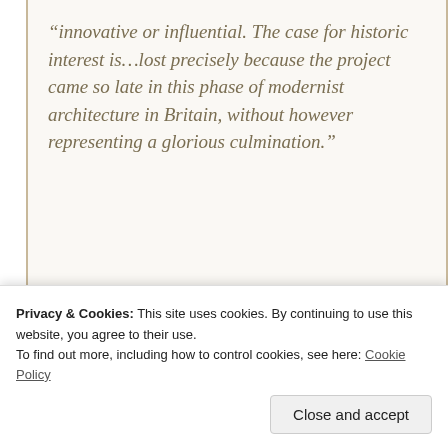“innovative or influential. The case for historic interest is…lost precisely because the project came so late in this phase of modernist architecture in Britain, without however representing a glorious culmination.”
[Figure (screenshot): Dark navy banner with a pink 'Start a survey' button on the left and a circular white Crowdsignal logo on the right.]
Privacy & Cookies: This site uses cookies. By continuing to use this website, you agree to their use.
To find out more, including how to control cookies, see here: Cookie Policy